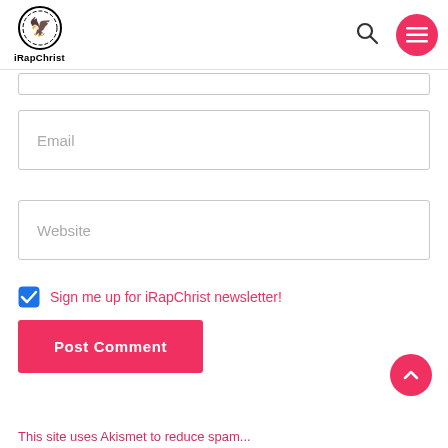iRapChrist
[Figure (screenshot): iRapChrist website screenshot showing a comment form with Email and Website input fields, a newsletter signup checkbox, and a Post Comment button.]
Email
Website
Sign me up for iRapChrist newsletter!
Post Comment
This site uses Akismet to reduce spam...